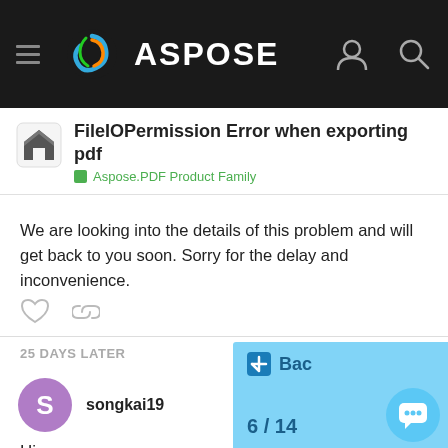ASPOSE
FileIOPermission Error when exporting pdf
Aspose.PDF Product Family
We are looking into the details of this problem and will get back to you soon. Sorry for the delay and inconvenience.
25 DAYS LATER
songkai19   Aug '10
Hi,
Any updates? Without resolving this issue, we cannot finish our evaluation. Anyway, please keep us informed. Thank you!